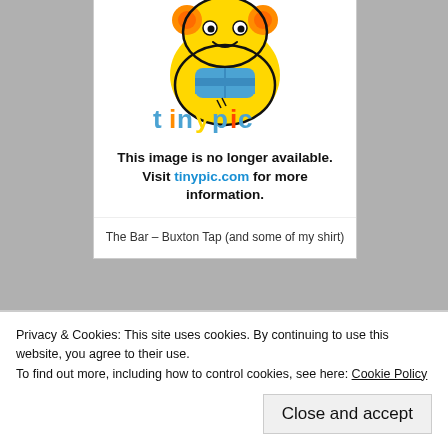[Figure (illustration): Tinypic logo and mascot — a cartoon bee-like character in yellow/orange/blue with the colorful 'tinypic' text logo beneath it, followed by bold text: 'This image is no longer available. Visit tinypic.com for more information.']
The Bar – Buxton Tap (and some of my shirt)
Privacy & Cookies: This site uses cookies. By continuing to use this website, you agree to their use.
To find out more, including how to control cookies, see here: Cookie Policy
Close and accept